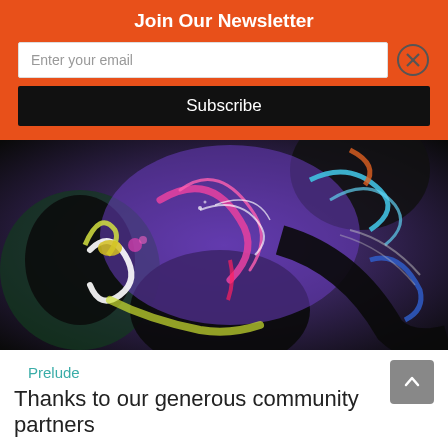Join Our Newsletter
Enter your email
Subscribe
[Figure (illustration): Abstract colorful painting with swirling purple, black, pink, yellow, green, blue and white paint strokes on a dark background]
Prelude
Thanks to our generous community partners